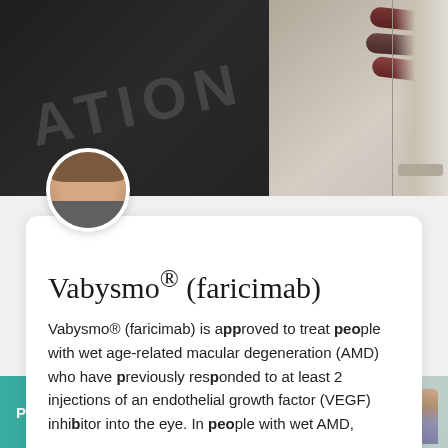[Figure (photo): Top banner with notebook showing partial text 'ATION' and pills/capsules on right side]
[Figure (photo): Circular avatar portrait of a woman with light skin and dark hair]
Vabysmo® (faricimab)
Vabysmo® (faricimab) is approved to treat people with wet age-related macular degeneration (AMD) who have previously responded to at least 2 injections of an endothelial growth factor (VEGF) inhibitor into the eye. In people with wet AMD,
[Figure (photo): Bottom banner showing 'Patient Content' label in teal on left, and children figures on right]
Patient Content